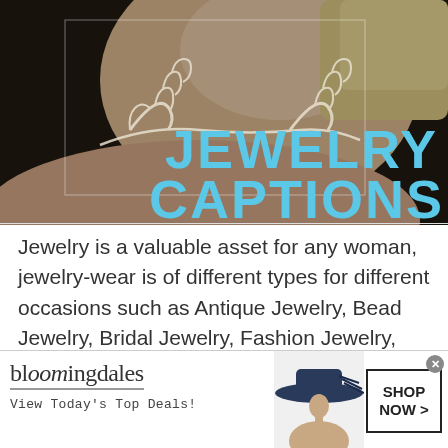[Figure (photo): Close-up photo of a woman's neck/shoulder wearing an ornate silver skeleton hand necklace/jewelry piece, with text overlay 'JEWELRY CAPTIONS' in bold light blue letters]
Jewelry is a valuable asset for any woman, jewelry-wear is of different types for different occasions such as Antique Jewelry, Bead Jewelry, Bridal Jewelry, Fashion Jewelry, Filigree Jewelry, Navratna Jewelry, etc.
[Figure (other): Bloomingdale's advertisement banner showing logo, 'View Today's Top Deals!' tagline, a woman in a wide-brim hat, and a 'SHOP NOW >' button]